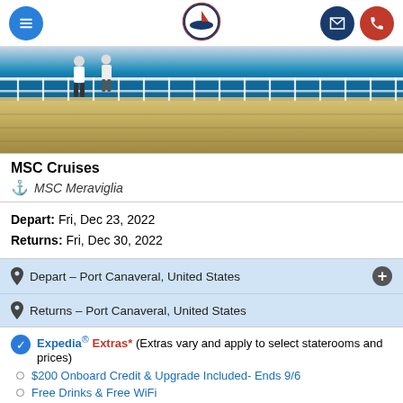Navigation bar with menu, Expedia Cruises logo, email and phone buttons
[Figure (photo): Cruise ship deck with railing overlooking blue ocean water, two people walking]
MSC Cruises
MSC Meraviglia
Depart: Fri, Dec 23, 2022
Returns: Fri, Dec 30, 2022
Depart – Port Canaveral, United States
Returns – Port Canaveral, United States
Expedia® Extras* (Extras vary and apply to select staterooms and prices)
$200 Onboard Credit & Upgrade Included- Ends 9/6
Free Drinks & Free WiFi
Escape to Sea
from $448*